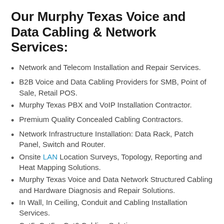Our Murphy Texas Voice and Data Cabling & Network Services:
Network and Telecom Installation and Repair Services.
B2B Voice and Data Cabling Providers for SMB, Point of Sale, Retail POS.
Murphy Texas PBX and VoIP Installation Contractor.
Premium Quality Concealed Cabling Contractors.
Network Infrastructure Installation: Data Rack, Patch Panel, Switch and Router.
Onsite LAN Location Surveys, Topology, Reporting and Heat Mapping Solutions.
Murphy Texas Voice and Data Network Structured Cabling and Hardware Diagnosis and Repair Solutions.
In Wall, In Ceiling, Conduit and Cabling Installation Services.
Cat5, Cat5e, Cat6 Cabling Solutions.
Expert Voice and Data Inside Wiring Solutions in